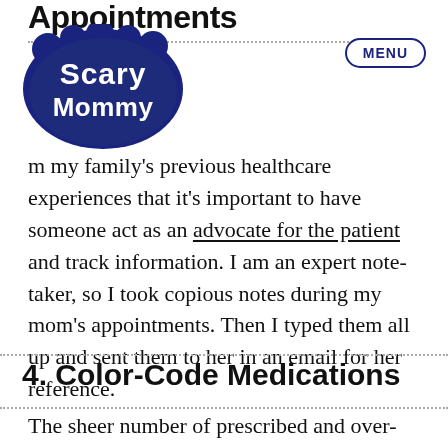Appointments
[Figure (logo): Scary Mommy logo — stylized text in dark navy/blue on a swirling badge shape]
from my family's previous healthcare experiences that it's important to have someone act as an advocate for the patient and track information. I am an expert note-taker, so I took copious notes during my mom's appointments. Then I typed them all up and sent them to her in an email for her reference.
4. Color-Code Medications
The sheer number of prescribed and over-the-counter medications that my mom had to take